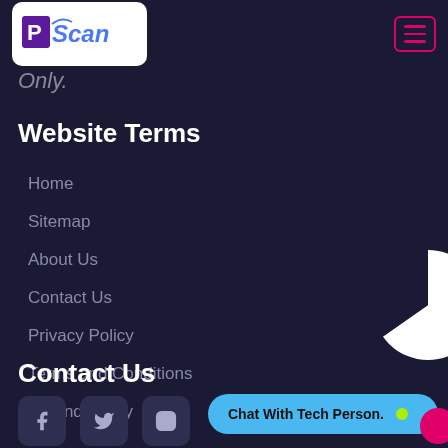[Figure (logo): PScan logo in white rounded box with purple P and blue italic Scan text]
Only.
Website Terms
Home
Sitemap
About Us
Contact Us
Privacy Policy
Terms and Conditions
Refund Policy
[Figure (pie-chart): Partial pie chart showing white and dark navy/purple segments, partially cropped at right edge]
Contact Us
[Figure (illustration): Social media icons: Facebook, Twitter, Instagram in rounded square boxes]
Chat With Tech Person. 🟢
[Figure (illustration): Pink/magenta circle button at bottom right]